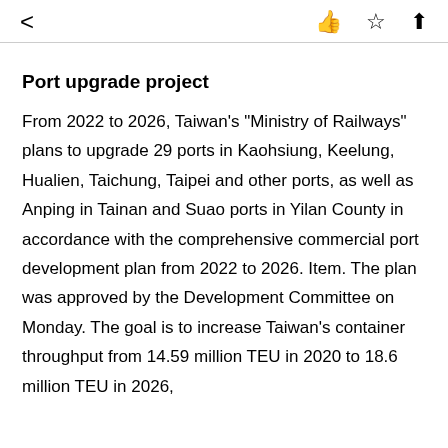< [like] [star] [share]
Port upgrade project
From 2022 to 2026, Taiwan's "Ministry of Railways" plans to upgrade 29 ports in Kaohsiung, Keelung, Hualien, Taichung, Taipei and other ports, as well as Anping in Tainan and Suao ports in Yilan County in accordance with the comprehensive commercial port development plan from 2022 to 2026. Item. The plan was approved by the Development Committee on Monday. The goal is to increase Taiwan's container throughput from 14.59 million TEU in 2020 to 18.6 million TEU in 2026,